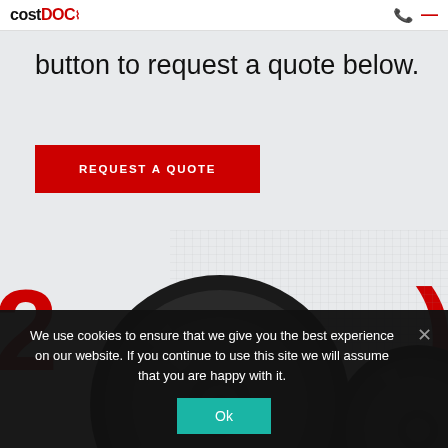CostDoc [logo with pulse line]
button to request a quote below.
REQUEST A QUOTE
[Figure (photo): A dark alloy car wheel/rim with a crosshatch mesh/grid background, and partial second wheel visible at right. Large red numbers partially visible beneath.]
We use cookies to ensure that we give you the best experience on our website. If you continue to use this site we will assume that you are happy with it.
Ok